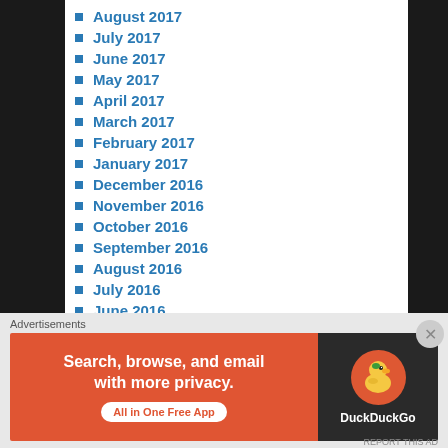August 2017
July 2017
June 2017
May 2017
April 2017
March 2017
February 2017
January 2017
December 2016
November 2016
October 2016
September 2016
August 2016
July 2016
June 2016
May 2016
April 2016
Advertisements
[Figure (screenshot): DuckDuckGo advertisement banner: orange left panel with text 'Search, browse, and email with more privacy. All in One Free App' and dark right panel with DuckDuckGo duck logo]